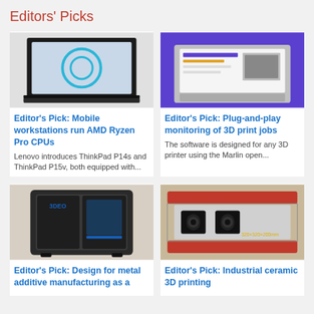Editors' Picks
[Figure (photo): Laptop showing a 3D CAD ring design on screen]
Editor's Pick: Mobile workstations run AMD Ryzen Pro CPUs
Lenovo introduces ThinkPad P14s and ThinkPad P15v, both equipped with...
[Figure (photo): MacBook laptop on purple background showing software interface]
Editor's Pick: Plug-and-play monitoring of 3D print jobs
The software is designed for any 3D printer using the Marlin open...
[Figure (photo): Large industrial 3D printer machine labeled 3DEO]
Editor's Pick: Design for metal additive manufacturing as a
[Figure (photo): Industrial ceramic 3D printer with red frame showing 320x320x200mm build volume]